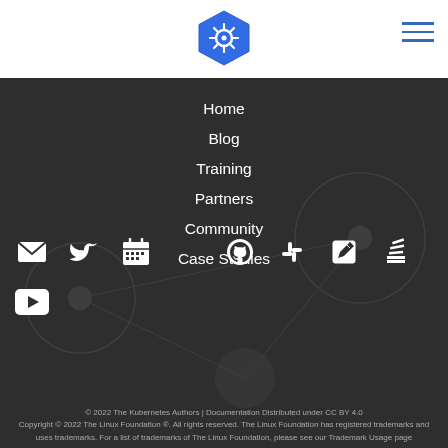Kubernetes logo and navigation hamburger menu
Home
Blog
Training
Partners
Community
Case Studies
[Figure (illustration): Social media icons: email, twitter, calendar, github, slack, edit, stack, youtube]
© 2022 The Kubernetes Authors | Documentation Distributed under CC BY 4.0
Copyright © 2022 The Linux Foundation ®. All rights reserved. The Linux Foundation has registered trademarks and uses trademarks. For a list of trademarks of The Linux Foundation, please see our Trademark Usage page